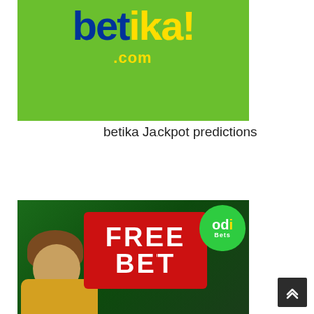[Figure (logo): Betika.com logo on green background with blue and yellow text]
betika Jackpot predictions
[Figure (illustration): Odi Bets advertisement image showing a woman with curly hair in yellow shirt holding a red FREE BET sign, with Odi Bets logo in top right corner on green background]
[Figure (other): Scroll to top button with double chevron arrow]